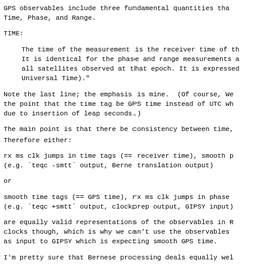GPS observables include three fundamental quantities that Time, Phase, and Range.
TIME:
The time of the measurement is the receiver time of th It is identical for the phase and range measurements a all satellites observed at that epoch. It is expressed Universal Time)."
Note the last line; the emphasis is mine.  (Of course, We the point that the time tag be GPS time instead of UTC wh due to insertion of leap seconds.)
The main point is that there be consistency between time, Therefore either:
rx ms clk jumps in time tags (== receiver time), smooth p (e.g. `teqc -smtt` output, Berne translation output)
or
smooth time tags (== GPS time), rx ms clk jumps in phase (e.g. `teqc +smtt` output, clockprep output, GIPSY input)
are equally valid representations of the observables in R clocks though, which is why we can't use the observables as input to GIPSY which is expecting smooth GPS time.
I'm pretty sure that Bernese processing deals equally wel